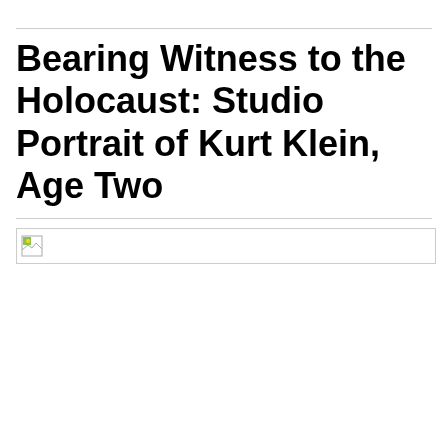Bearing Witness to the Holocaust: Studio Portrait of Kurt Klein, Age Two
[Figure (photo): Broken/missing image placeholder for a studio portrait photograph]